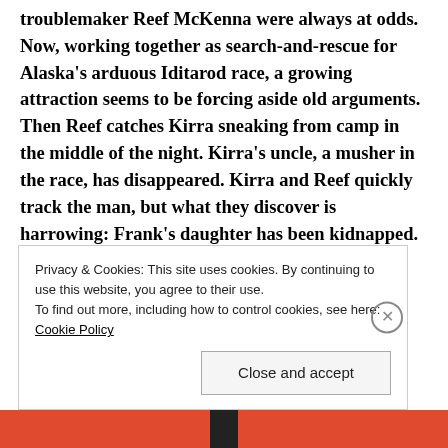troublemaker Reef McKenna were always at odds. Now, working together as search-and-rescue for Alaska's arduous Iditarod race, a growing attraction seems to be forcing aside old arguments. Then Reef catches Kirra sneaking from camp in the middle of the night. Kirra's uncle, a musher in the race, has disappeared. Kirra and Reef quickly track the man, but what they discover is harrowing: Frank's daughter has been kidnapped. Kirra and Reef, along with the entire McKenna family, are thrown into a race to stop a shadowy villain who is not only
Privacy & Cookies: This site uses cookies. By continuing to use this website, you agree to their use.
To find out more, including how to control cookies, see here: Cookie Policy
Close and accept